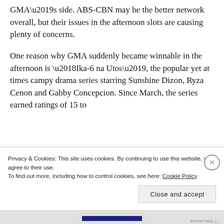GMA’s side. ABS-CBN may be the better network overall, but their issues in the afternoon slots are causing plenty of concerns.
One reason why GMA suddenly became winnable in the afternoon is ‘Ika-6 na Utos’, the popular yet at times campy drama series starring Sunshine Dizon, Ryza Cenon and Gabby Concepcion. Since March, the series earned ratings of 15 to
Privacy & Cookies: This site uses cookies. By continuing to use this website, you agree to their use.
To find out more, including how to control cookies, see here: Cookie Policy
Close and accept